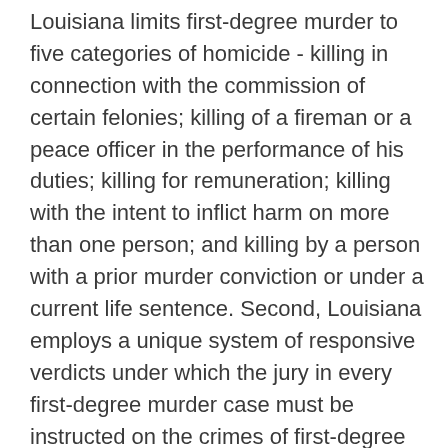Louisiana limits first-degree murder to five categories of homicide - killing in connection with the commission of certain felonies; killing of a fireman or a peace officer in the performance of his duties; killing for remuneration; killing with the intent to inflict harm on more than one person; and killing by a person with a prior murder conviction or under a current life sentence. Second, Louisiana employs a unique system of responsive verdicts under which the jury in every first-degree murder case must be instructed on the crimes of first-degree murder case second-degree murder, and manslaughter and must be provided with the verdict of guilty, guilty of second-degree murder, guilty of manslaughter, and not guilty. See La. Code Crim. Proc. Ann., Arts. 809, 814 (Supp. 1975); State v. Cooley, 260 La. 768, 771, 257 So.2d 400, 401 (1972). By contrast, in North Carolina instructions on lesser included offenses must have a basis in the evidence adduced at trial. See State v. Spivey, 151 N.C. 676, 65 S. E. 995 (1909); cf. State v. Vestal, 283